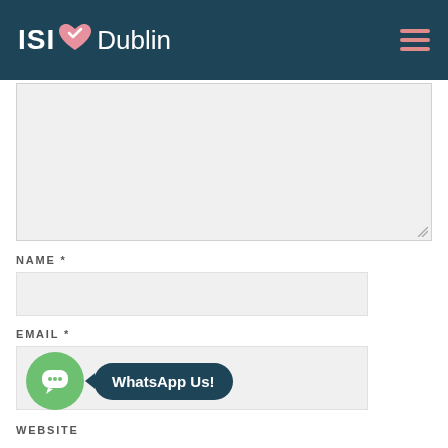[Figure (screenshot): ISI Dublin website header with logo (ISI heart Dublin) in white on dark teal background, and hamburger menu icon on the right]
[Figure (screenshot): A large grey textarea input field (comment/message box) with resize handle at bottom-right]
NAME *
[Figure (screenshot): Grey input field for NAME]
EMAIL *
[Figure (screenshot): Grey input field for EMAIL with WhatsApp Us! chat widget overlapping]
WEBSITE